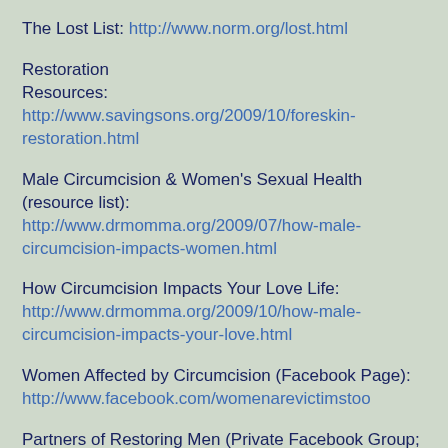The Lost List: http://www.norm.org/lost.html
Restoration Resources: http://www.savingsons.org/2009/10/foreskin-restoration.html
Male Circumcision & Women's Sexual Health (resource list): http://www.drmomma.org/2009/07/how-male-circumcision-impacts-women.html
How Circumcision Impacts Your Love Life: http://www.drmomma.org/2009/10/how-male-circumcision-impacts-your-love.html
Women Affected by Circumcision (Facebook Page): http://www.facebook.com/womenarevictimstoo
Partners of Restoring Men (Private Facebook Group; PM Saving Our Sons on Facebook to be added): http://www.facebook.com/groups/Restoring/